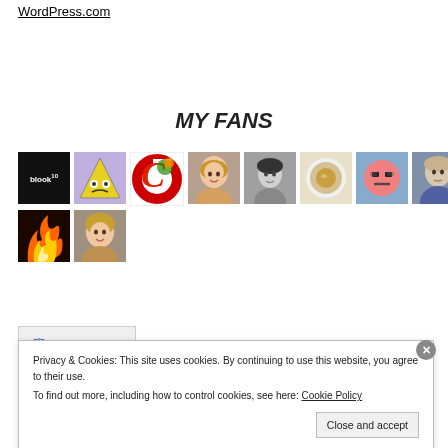WordPress.com
MY FANS
[Figure (photo): Grid of fan profile pictures/avatars: blook logo, triangle cartoon, red C letter, blonde woman, dark-haired woman, coffee cup, pink emoji face, older man, fire image, blonde woman]
[Figure (infographic): My Visitor Globe widget with globe icon]
Privacy & Cookies: This site uses cookies. By continuing to use this website, you agree to their use. To find out more, including how to control cookies, see here: Cookie Policy
Close and accept